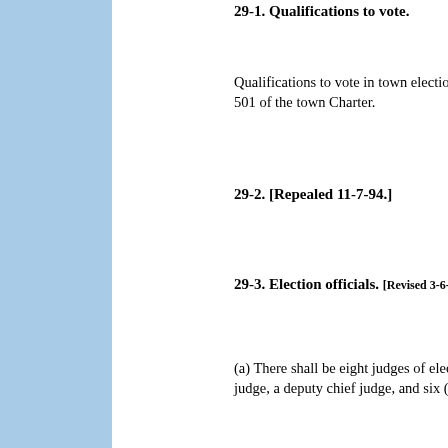29-1. Qualifications to vote.
Qualifications to vote in town elections are stated in 501 of the town Charter.
29-2. [Repealed 11-7-94.]
29-3. Election officials. [Revised 3-6-95.]
(a) There shall be eight judges of election: a chief judge, a deputy chief judge, and six (6) other judges.